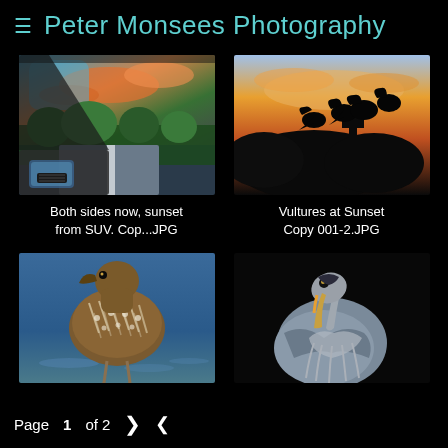≡  Peter Monsees Photography
[Figure (photo): View from inside a car, dashboard and side mirror visible, colorful sunset sky with orange and blue clouds, highway road ahead with trees]
Both sides now, sunset from SUV. Cop...JPG
[Figure (photo): Silhouettes of vultures perched on a post against a vibrant orange and blue sunset sky]
Vultures at Sunset Copy 001-2.JPG
[Figure (photo): Close-up of a bird (limpkin or similar wading bird) with speckled brown plumage standing in water]
[Figure (photo): Great blue heron in close-up, feathers ruffled, beak pointing down, against dark background]
Page 1 of 2